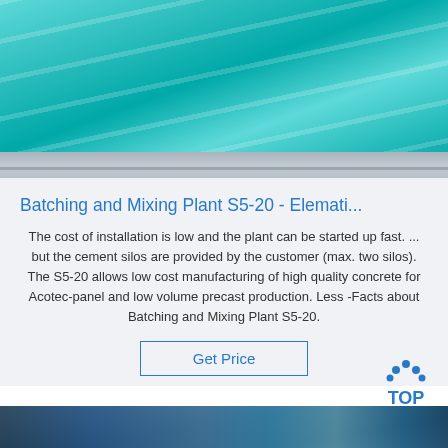[Figure (photo): Close-up photo of teal/turquoise colored surface material (fiberglass or plastic panel) with visible texture and ridges, metallic edge visible at bottom]
Batching and Mixing Plant S5-20 - Elemati...
The cost of installation is low and the plant can be started up fast. ... but the cement silos are provided by the customer (max. two silos). The S5-20 allows low cost manufacturing of high quality concrete for Acotec-panel and low volume precast production. Less -Facts about Batching and Mixing Plant S5-20.
Get Price
[Figure (logo): TOP badge logo with blue dots arranged in arc above the word TOP]
[Figure (photo): Photo of blue industrial materials/rolls in a manufacturing or warehouse setting]